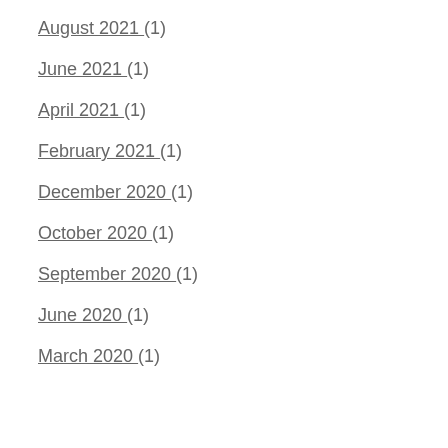August 2021 (1)
June 2021 (1)
April 2021 (1)
February 2021 (1)
December 2020 (1)
October 2020 (1)
September 2020 (1)
June 2020 (1)
March 2020 (1)